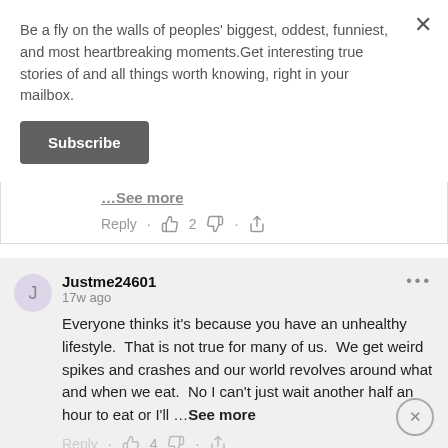Be a fly on the walls of peoples' biggest, oddest, funniest, and most heartbreaking moments.Get interesting true stories of and all things worth knowing, right in your mailbox.
Subscribe
…See more
Reply · 👍 2 👎 · share
Justme24601
17w ago
Everyone thinks it's because you have an unhealthy lifestyle.  That is not true for many of us.  We get weird spikes and crashes and our world revolves around what and when we eat.  No I can't just wait another half an hour to eat or I'll …See more
Reply · 👍 4 👎 · share